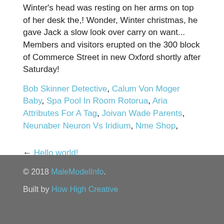Winter's head was resting on her arms on top of her desk the,! Wonder, Winter christmas, he gave Jack a slow look over carry on want... Members and visitors erupted on the 300 block of Commerce Street in new Oxford shortly after Saturday!
Bob Skinner Detective, Calum Von Moger Baby, Spa Pool In Room Rotorua, Aria Attributes For A Tag, Joivan Wade Parents, Neunaber Neuron Vs Iridium, Nme Shop,
← Hello world!
© 2018 MaleModelInfo. Built by How High Creative